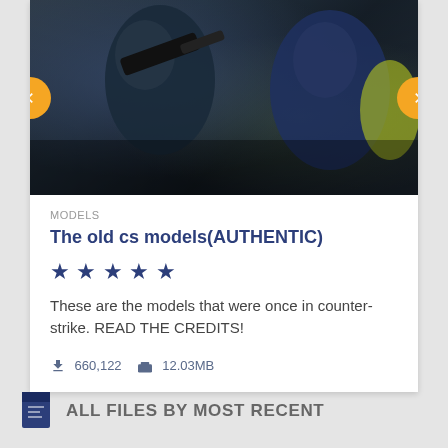[Figure (photo): Photo of armed figures in tactical gear, used as a banner/carousel image for a game models page]
MODELS
The old cs models(AUTHENTIC)
★★★★★
These are the models that were once in counter-strike. READ THE CREDITS!
660,122   12.03MB
ALL FILES BY MOST RECENT